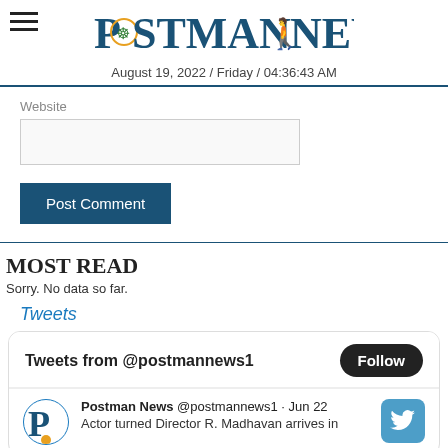POSTMAN NEWS — August 19, 2022 / Friday / 04:36:43 AM
Website
Post Comment
MOST READ
Sorry. No data so far.
Tweets
Tweets from @postmannews1 Follow
Postman News @postmannews1 · Jun 22 Actor turned Director R. Madhavan arrives in